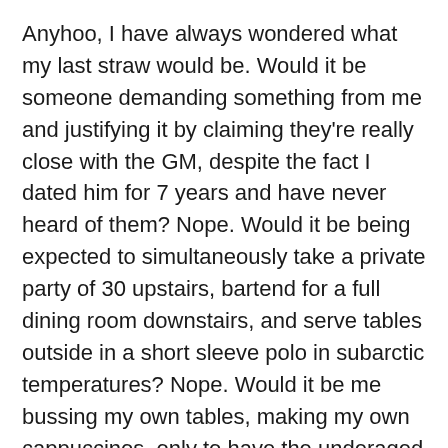Anyhoo, I have always wondered what my last straw would be. Would it be someone demanding something from me and justifying it by claiming they're really close with the GM, despite the fact I dated him for 7 years and have never heard of them? Nope. Would it be being expected to simultaneously take a private party of 30 upstairs, bartend for a full dining room downstairs, and serve tables outside in a short sleeve polo in subarctic temperatures? Nope. Would it be me bussing my own tables, making my own cappuccinos, only to have the underaged busboy lifelessly look at me without response when I ask him to pour my table water? Close, but no cigar.
As it turns out, my last straw being snapped in fucking half was a result of the ever elusive and calamitous Sunday brunch shift. I want you to understand one thing